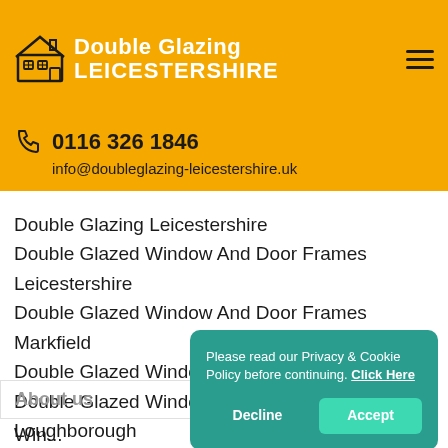Double Glazing LEICESTERSHIRE
0116 326 1846
info@doubleglazing-leicestershire.uk
Double Glazing Leicestershire
Double Glazed Window And Door Frames Leicestershire
Double Glazed Window And Door Frames Markfield
Double Glazed Window And Door Frames Ibstock
Double Glazed Window And Door Frames Loughborough
Double Glazed Window And Door Frames Gumley
Double Glazed Window And Door Frames Hallaton
Double Glazed Window And Door Frames Harby
Double Glazed Window...
About us
Please read our Privacy & Cookie Policy before continuing. Click Here
Decline | Accept